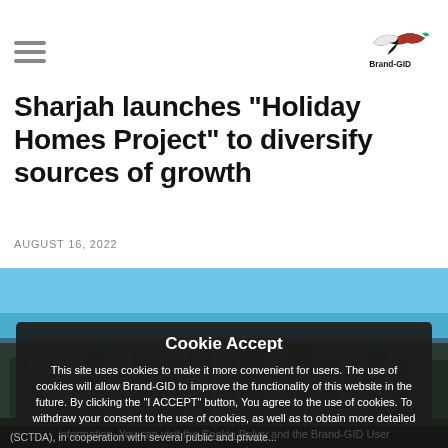Brand-GID logo and navigation
Sharjah launches "Holiday Homes Project" to diversify sources of growth
AUGUST 16, 2022
[Figure (photo): Aerial cityscape photo of Sharjah]
Cookie Accept

This site uses cookies to make it more convenient for users. The use of cookies will allow Brand-GID to improve the functionality of this website in the future. By clicking the "I ACCEPT" button, You agree to the use of cookies. To withdraw your consent to the use of cookies, as well as to obtain more detailed information, You can visit the Cookie Policy and the Brand-GID User agreement.

I ACCEPT
(SCTDA), in cooperation with several public and private...